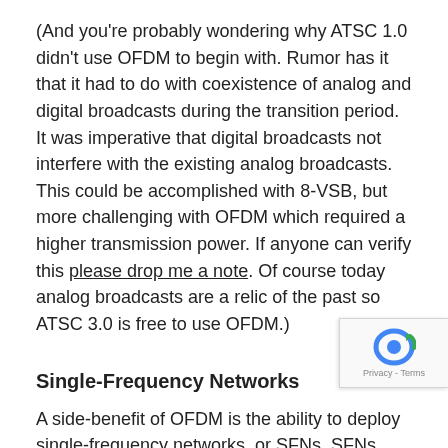(And you're probably wondering why ATSC 1.0 didn't use OFDM to begin with. Rumor has it that it had to do with coexistence of analog and digital broadcasts during the transition period. It was imperative that digital broadcasts not interfere with the existing analog broadcasts. This could be accomplished with 8-VSB, but more challenging with OFDM which required a higher transmission power. If anyone can verify this please drop me a note. Of course today analog broadcasts are a relic of the past so ATSC 3.0 is free to use OFDM.)
Single-Frequency Networks
A side-benefit of OFDM is the ability to deploy single-frequency networks, or SFNs. SFNs shine where broadcasters need to use repeaters or translators t… Repeaters extend the reach of a broadcast to areas… otherwise cannot receive the primary transmission. For…